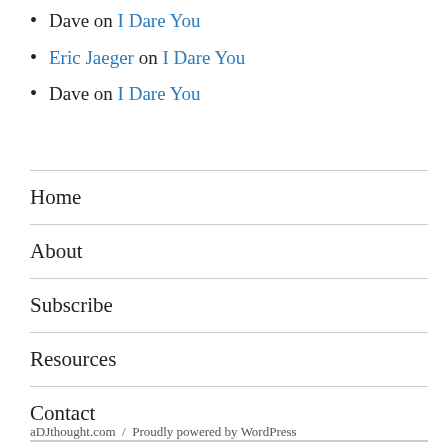Dave on I Dare You
Eric Jaeger on I Dare You
Dave on I Dare You
Home
About
Subscribe
Resources
Contact
aDJthought.com  /  Proudly powered by WordPress